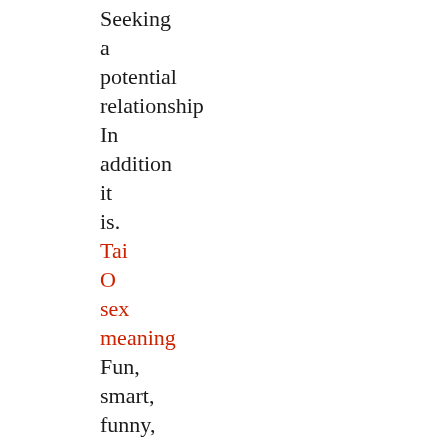Seeking a potential relationship In addition it is. Tai O sex meaning Fun, smart, funny, sexy, honest And while I wanted those things very badly